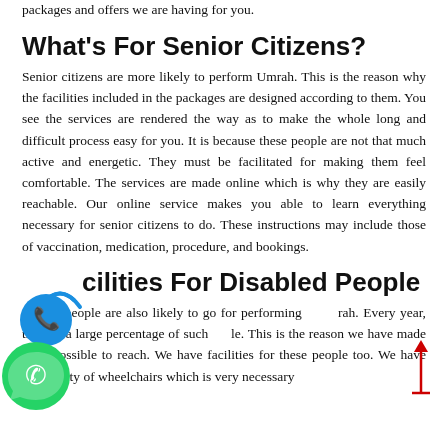packages and offers we are having for you.
What's For Senior Citizens?
Senior citizens are more likely to perform Umrah. This is the reason why the facilities included in the packages are designed according to them. You see the services are rendered the way as to make the whole long and difficult process easy for you. It is because these people are not that much active and energetic. They must be facilitated for making them feel comfortable. The services are made online which is why they are easily reachable. Our online service makes you able to learn everything necessary for senior citizens to do. These instructions may include those of vaccination, medication, procedure, and bookings.
Facilities For Disabled People
Disabled people are also likely to go for performing Umrah. Every year, there is a large percentage of such people. This is the reason we have made it all possible to reach. We have facilities for these people too. We have the facility of wheelchairs which is very necessary
[Figure (illustration): Phone call icon with signal waves (blue) overlapping with a WhatsApp green icon at bottom left of page]
[Figure (illustration): Red upward arrow with horizontal base line at right side of page]